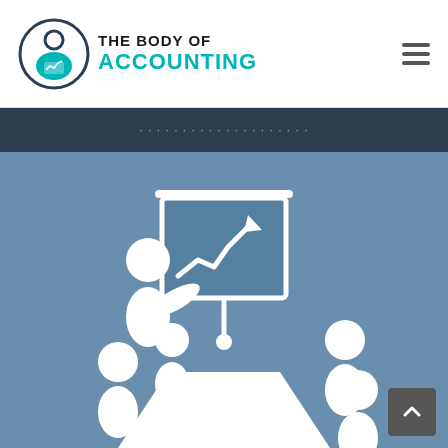[Figure (logo): The Body of Accounting logo with teal human figure holding a chart icon, bold black and teal text reading THE BODY OF ACCOUNTING]
[Figure (other): Hamburger menu icon (three horizontal lines)]
[Figure (illustration): Business meeting illustration on steel-blue background: white silhouette figures seated around a trapezoidal table with a presenter standing next to a presentation board showing an upward trend chart with arrow]